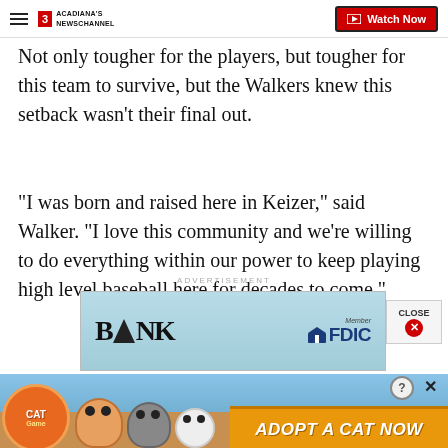Acadiana's Newschannel — Watch Now
Not only tougher for the players, but tougher for this team to survive, but the Walkers knew this setback wasn't their final out.
“I was born and raised here in Keizer,” said Walker. “I love this community and we’re willing to do everything within our power to keep playing high level baseball here for decades to come.”
ADVERTISEMENT
[Figure (screenshot): Bank advertisement with mountain triangle logo, BANK text, and Member FDIC badge on blue background]
[Figure (screenshot): Cat Game mobile ad with cartoon cats and Adopt A Cat Now button]